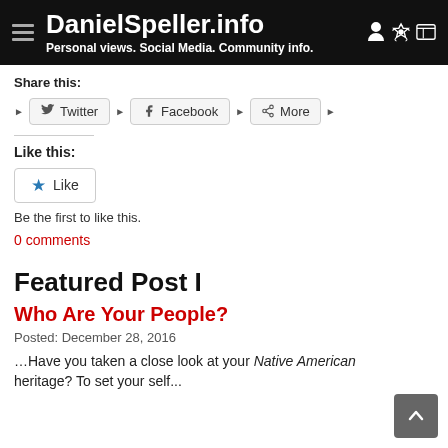DanielSpeller.info — Personal views. Social Media. Community info.
Share this:
Twitter  Facebook  More
Like this:
Like
Be the first to like this.
0 comments
Featured Post I
Who Are Your People?
Posted: December 28, 2016
…Have you taken a close look at your Native American heritage? To set your self apart and shed light on all...